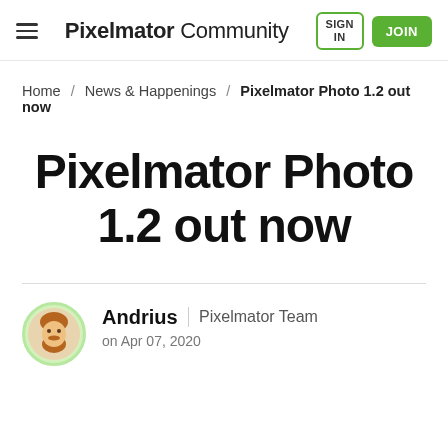Pixelmator Community — SIGN IN — JOIN
Home / News & Happenings / Pixelmator Photo 1.2 out now
Pixelmator Photo 1.2 out now
Andrius | Pixelmator Team
on Apr 07, 2020